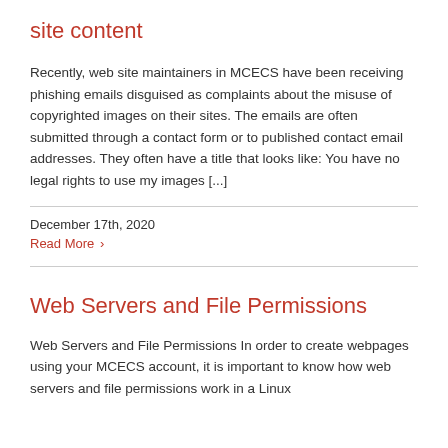site content
Recently, web site maintainers in MCECS have been receiving phishing emails disguised as complaints about the misuse of copyrighted images on their sites. The emails are often submitted through a contact form or to published contact email addresses. They often have a title that looks like: You have no legal rights to use my images [...]
December 17th, 2020
Read More >
Web Servers and File Permissions
Web Servers and File Permissions In order to create webpages using your MCECS account, it is important to know how web servers and file permissions work in a Linux...